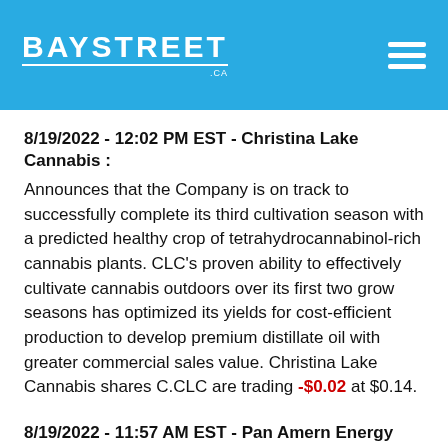BAYSTREET .CA
8/19/2022 - 12:02 PM EST - Christina Lake Cannabis : Announces that the Company is on track to successfully complete its third cultivation season with a predicted healthy crop of tetrahydrocannabinol-rich cannabis plants. CLC's proven ability to effectively cultivate cannabis outdoors over its first two grow seasons has optimized its yields for cost-efficient production to develop premium distillate oil with greater commercial sales value. Christina Lake Cannabis shares C.CLC are trading -$0.02 at $0.14.
8/19/2022 - 11:57 AM EST - Pan Amern Energy Corp : Announces that its common shares trading on the OTC Pink Market are expected to begin trading under the symbol